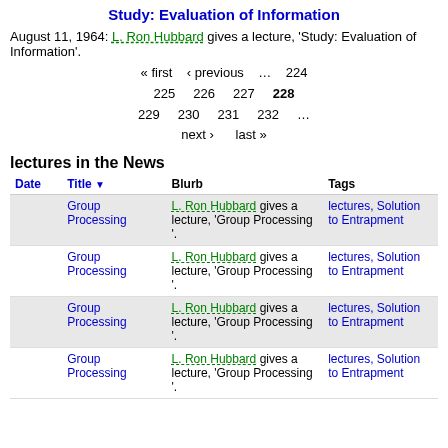Study: Evaluation of Information
August 11, 1964: L. Ron Hubbard gives a lecture, 'Study: Evaluation of Information'.
« first ‹ previous … 224 225 226 227 228 229 230 231 232 … next › last »
lectures in the News
| Date | Title | Blurb | Tags |
| --- | --- | --- | --- |
|  | Group Processing | L. Ron Hubbard gives a lecture, 'Group Processing '. | lectures, Solution to Entrapment |
|  | Group Processing | L. Ron Hubbard gives a lecture, 'Group Processing '. | lectures, Solution to Entrapment |
|  | Group Processing | L. Ron Hubbard gives a lecture, 'Group Processing '. | lectures, Solution to Entrapment |
|  | Group Processing | L. Ron Hubbard gives a lecture, 'Group Processing '. | lectures, Solution to Entrapment |